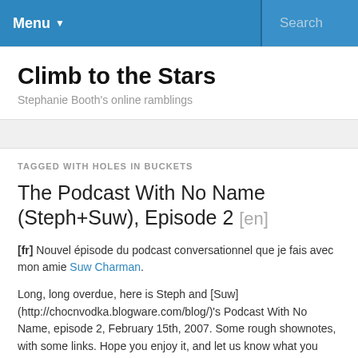Menu ▾   Search
Climb to the Stars
Stephanie Booth's online ramblings
TAGGED WITH HOLES IN BUCKETS
The Podcast With No Name (Steph+Suw), Episode 2 [en]
[fr] Nouvel épisode du podcast conversationnel que je fais avec mon amie Suw Charman.
Long, long overdue, here is Steph and [Suw](http://chocnvodka.blogware.com/blog/)'s Podcast With No Name, episode 2, February 15th, 2007. Some rough shownotes, with some links. Hope you enjoy it, and let us know what you think. We're down to 35 minutes! *Show notes might suffer updates…*
* conferences: [LIFT'07](http://www.liftconference.com/blog/) and